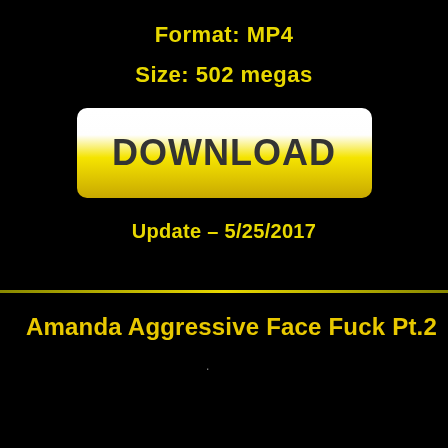Format: MP4
Size: 502 megas
[Figure (other): Yellow and white download button with text DOWNLOAD]
Update - 5/25/2017
Amanda Aggressive Face Fuck Pt.2